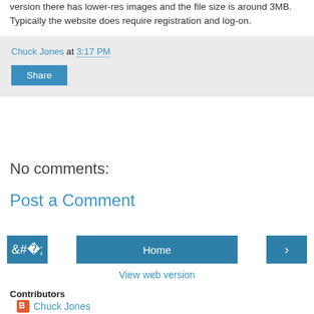version there has lower-res images and the file size is around 3MB. Typically the website does require registration and log-on.
Chuck Jones at 3:17 PM
Share
No comments:
Post a Comment
‹ Home ›
View web version
Contributors
Chuck Jones
Tom Elliott
Powered by Blogger